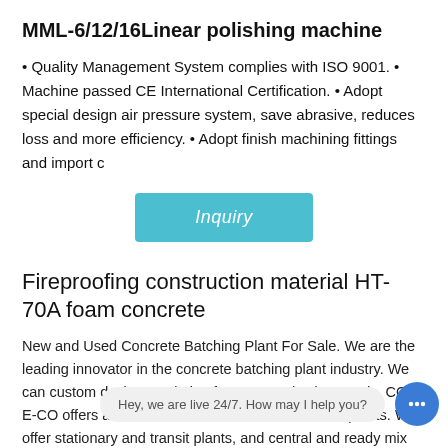MML-6/12/16Linear polishing machine
• Quality Management System complies with ISO 9001. • Machine passed CE International Certification. • Adopt special design air pressure system, save abrasive, reduces loss and more efficiency. • Adopt finish machining fittings and import c
[Figure (other): Inquiry button — teal/cyan rounded rectangle with italic white text 'Inquiry']
Fireproofing construction material HT-70A foam concrete
New and Used Concrete Batching Plant For Sale. We are the leading innovator in the concrete batching plant industry. We can custom design a solution for your production needs. CON-E-CO offers a full line of innovative concrete batch plants. We offer stationary and transit plants, and central and ready mix plants.
[Figure (other): Chat widget: grey bubble with text 'Hey, we are live 24/7. How may I help you?' and blue circular chat icon with ellipsis]
concrete batching plant price,